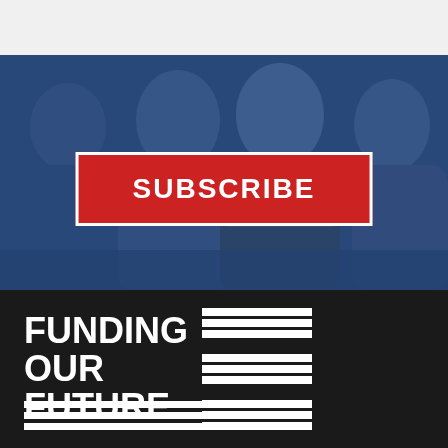[Figure (photo): Blue-tinted photo of three women smiling and looking at something together, with a red SUBSCRIBE button overlaid in the center]
[Figure (logo): Funding Our Future logo on black background — bold white text with horizontal stripe lines motif]